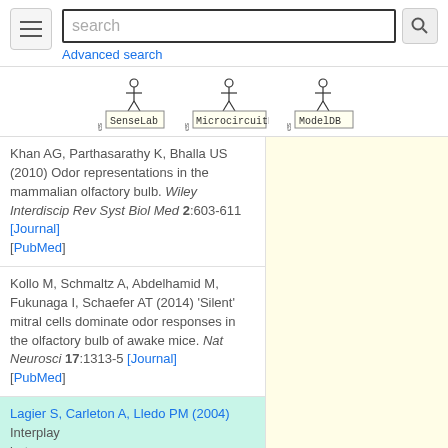[Figure (screenshot): Top navigation bar with hamburger menu, search box with magnifier icon, and Advanced search link]
[Figure (screenshot): Three database logos: SenseLab, MicrocircuitDB, ModelDB with stickman figures]
Khan AG, Parthasarathy K, Bhalla US (2010) Odor representations in the mammalian olfactory bulb. Wiley Interdiscip Rev Syst Biol Med 2:603-611 [Journal] [PubMed]
Kollo M, Schmaltz A, Abdelhamid M, Fukunaga I, Schaefer AT (2014) 'Silent' mitral cells dominate odor responses in the olfactory bulb of awake mice. Nat Neurosci 17:1313-5 [Journal] [PubMed]
Lagier S, Carleton A, Lledo PM (2004) Interplay between...